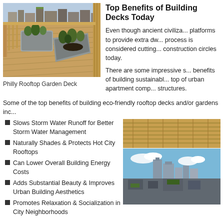[Figure (photo): Philly rooftop garden deck with wooden deck floor, metal planter boxes with plants, and wooden railing overlooking city buildings]
Philly Rooftop Garden Deck
Top Benefits of Building Decks Today
Even though ancient civilizations used platforms to provide extra dw... process is considered cutting... construction circles today.
There are some impressive s... benefits of building sustainabl... top of urban apartment comp... structures.
Some of the top benefits of building eco-friendly rooftop decks and/or gardens inc...
Slows Storm Water Runoff for Better Storm Water Management
Naturally Shades & Protects Hot City Rooftops
Can Lower Overall Building Energy Costs
Adds Substantial Beauty & Improves Urban Building Aesthetics
Promotes Relaxation & Socialization in City Neighborhoods
[Figure (photo): Two partial photos on the right side: top shows wooden deck structure detail, bottom shows city rooftop view with buildings and blue sky]